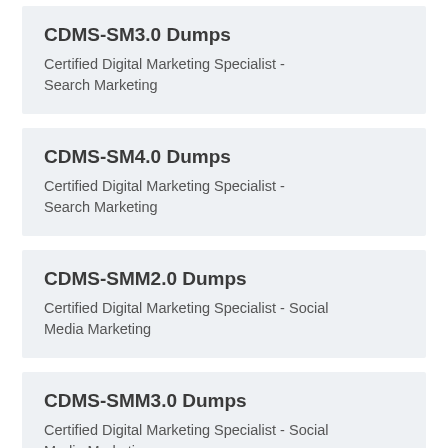CDMS-SM3.0 Dumps
Certified Digital Marketing Specialist - Search Marketing
CDMS-SM4.0 Dumps
Certified Digital Marketing Specialist - Search Marketing
CDMS-SMM2.0 Dumps
Certified Digital Marketing Specialist - Social Media Marketing
CDMS-SMM3.0 Dumps
Certified Digital Marketing Specialist - Social Media Marketing
CDMS-SMM4.0 Dumps